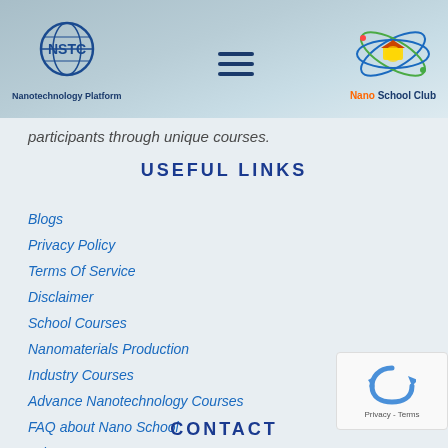[Figure (logo): NSTC Nanotechnology Platform logo on the left, hamburger menu icon in center, Nano School Club logo on the right, in a teal/grey wave header]
participants through unique courses.
USEFUL LINKS
Blogs
Privacy Policy
Terms Of Service
Disclaimer
School Courses
Nanomaterials Production
Industry Courses
Advance Nanotechnology Courses
FAQ about Nano School
Join US
CONTACT